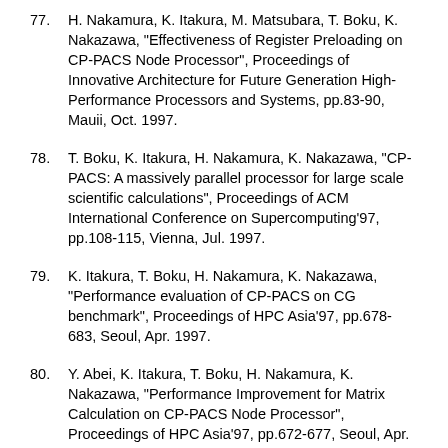77. H. Nakamura, K. Itakura, M. Matsubara, T. Boku, K. Nakazawa, "Effectiveness of Register Preloading on CP-PACS Node Processor", Proceedings of Innovative Architecture for Future Generation High-Performance Processors and Systems, pp.83-90, Mauii, Oct. 1997.
78. T. Boku, K. Itakura, H. Nakamura, K. Nakazawa, "CP-PACS: A massively parallel processor for large scale scientific calculations", Proceedings of ACM International Conference on Supercomputing'97, pp.108-115, Vienna, Jul. 1997.
79. K. Itakura, T. Boku, H. Nakamura, K. Nakazawa, "Performance evaluation of CP-PACS on CG benchmark", Proceedings of HPC Asia'97, pp.678-683, Seoul, Apr. 1997.
80. Y. Abei, K. Itakura, T. Boku, H. Nakamura, K. Nakazawa, "Performance Improvement for Matrix Calculation on CP-PACS Node Processor", Proceedings of HPC Asia'97, pp.672-677, Seoul, Apr. 1997.
81. T. Boku, H. Nakamura, K. Nakazawa, Y. Iwasaki, "The Architecture of Massively Parallel Processor CP-PACS", Proceedings of 2nd pAs, pp.31-40, Aizu, Mar. 1997.